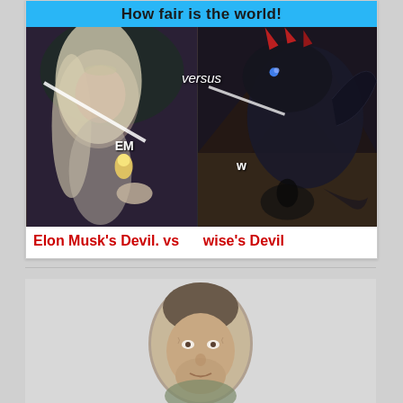[Figure (illustration): Meme image with cyan header reading 'How fair is the world!' above a split image: left side shows a fantasy elf woman with long blonde hair holding a small glowing figure labeled 'EM', right side shows a dark dragon creature with label 'W', 'versus' text in center. Caption below reads 'Elon Musk's Devil.  vs      wise's Devil' in red text.]
[Figure (photo): Oval/portrait cropped photo of an older man's face, partially visible at bottom of page.]